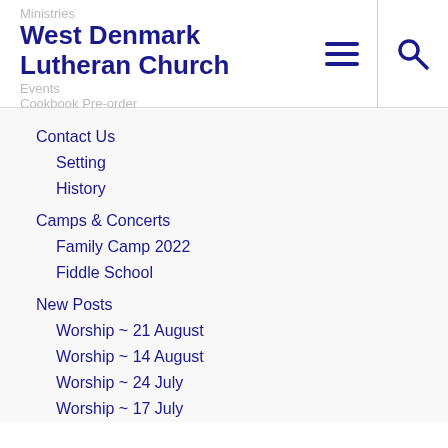Ministries | West Denmark Lutheran Church | Events | Cookbook Pre-order
Contact Us
Setting
History
Camps & Concerts
Family Camp 2022
Fiddle School
New Posts
Worship ~ 21 August
Worship ~ 14 August
Worship ~ 24 July
Worship ~ 17 July